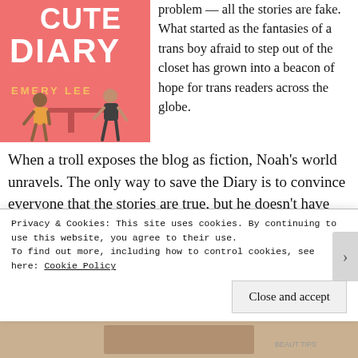[Figure (illustration): Book cover for 'Cute Diary' by Emery Lee. Pink/salmon background with white stylized text showing 'CUTE DIARY' and author name 'EMERY LEE' in yellow-orange lettering. Illustrated figures of teens sitting at a table.]
problem — all the stories are fake. What started as the fantasies of a trans boy afraid to step out of the closet has grown into a beacon of hope for trans readers across the globe.
When a troll exposes the blog as fiction, Noah's world unravels. The only way to save the Diary is to convince everyone that the stories are true, but he doesn't have any proof. Then Drew walks into Noah's life, and the pieces fall into place: Drew is willing to fake-date Noah to save the Diary. But when Noah's feelings grow beyond their staged
Privacy & Cookies: This site uses cookies. By continuing to use this website, you agree to their use.
To find out more, including how to control cookies, see here: Cookie Policy
Close and accept